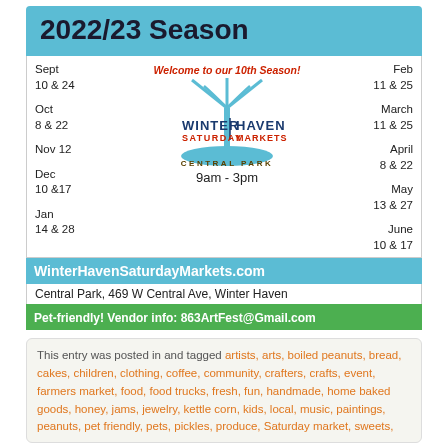2022/23 Season
[Figure (infographic): Winter Haven Saturday Markets schedule flyer with fountain logo, 'Welcome to our 10th Season!' arc text, dates listing Sept through June, and 9am-3pm hours at Central Park]
WinterHavenSaturdayMarkets.com
Central Park, 469 W Central Ave, Winter Haven
Pet-friendly! Vendor info: 863ArtFest@Gmail.com
This entry was posted in and tagged artists, arts, boiled peanuts, bread, cakes, children, clothing, coffee, community, crafters, crafts, event, farmers market, food, food trucks, fresh, fun, handmade, home baked goods, honey, jams, jewelry, kettle corn, kids, local, music, paintings, peanuts, pet friendly, pets, pickles, produce, Saturday market, sweets,